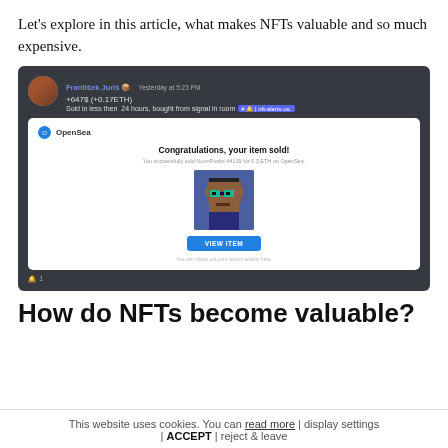Let's explore in this article, what makes NFTs valuable and so much expensive.
[Figure (screenshot): Discord screenshot showing a user 'František Juriš' posting about an NFT sale: +647$ (+0.17ETH), sold in less than 24 hours, bought from signal in room #nft-alerts-os. Shows an OpenSea congratulations popup with a pixel art NFT character (CryptoPunk-style) and a VIEW ITEM button.]
How do NFTs become valuable?
This website uses cookies. You can read more | display settings | ACCEPT | reject & leave